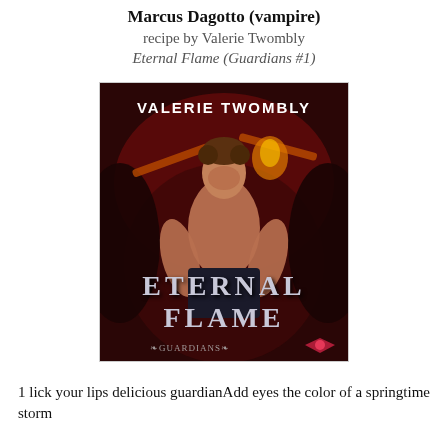Marcus Dagotto (vampire)
recipe by Valerie Twombly
Eternal Flame (Guardians #1)
[Figure (photo): Book cover of 'Eternal Flame' by Valerie Twombly (Guardians #1), showing a muscular shirtless man holding swords against a dark red background with dragon imagery, with the author name 'VALERIE TWOMBLY' at top and 'ETERNAL FLAME' and 'Guardians' at bottom.]
1 lick your lips delicious guardianAdd eyes the color of a springtime storm